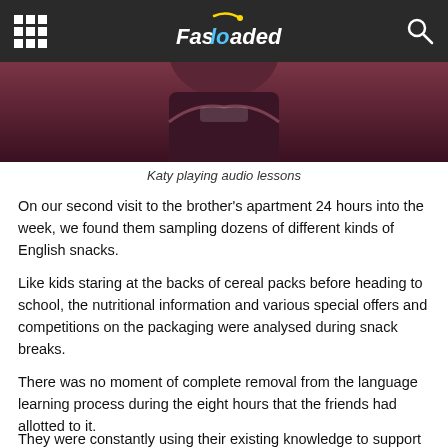Fasloaded
[Figure (photo): Photo of Katy playing audio lessons, cropped view showing person in dark top]
Katy playing audio lessons
On our second visit to the brother's apartment 24 hours into the week, we found them sampling dozens of different kinds of English snacks.
Like kids staring at the backs of cereal packs before heading to school, the nutritional information and various special offers and competitions on the packaging were analysed during snack breaks.
There was no moment of complete removal from the language learning process during the eight hours that the friends had allotted to it.
They were constantly using their existing knowledge to support the